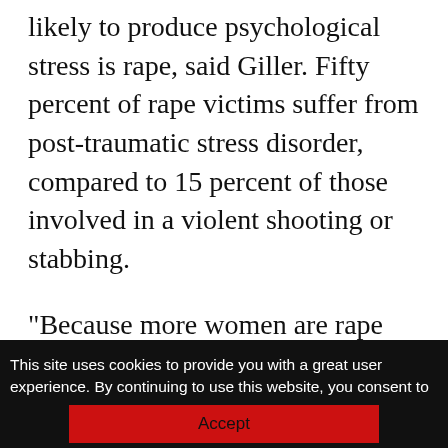likely to produce psychological stress is rape, said Giller. Fifty percent of rape victims suffer from post-traumatic stress disorder, compared to 15 percent of those involved in a violent shooting or stabbing.
“Because more women are rape victims, more develop the disorder. More women have histories of childhood sexual abuse. Women are also more likely to experience interpersonal violence than are men.”
This site uses cookies to provide you with a great user experience. By continuing to use this website, you consent to the use of cookies in accordance with our Privacy Policy.
Accept